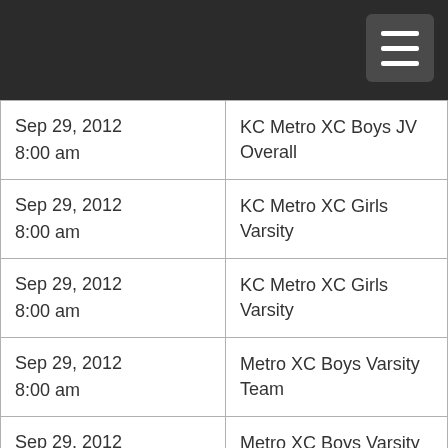| Date/Time | Event |
| --- | --- |
| Sep 29, 2012 8:00 am | KC Metro XC Boys JV Overall |
| Sep 29, 2012 8:00 am | KC Metro XC Girls Varsity |
| Sep 29, 2012 8:00 am | KC Metro XC Girls Varsity |
| Sep 29, 2012 8:00 am | Metro XC Boys Varsity Team |
| Sep 29, 2012 8:00 am | Metro XC Boys Varsity Overall |
| Sep 29, 2012 8:00 am | Pony Express Run 5K/10K |